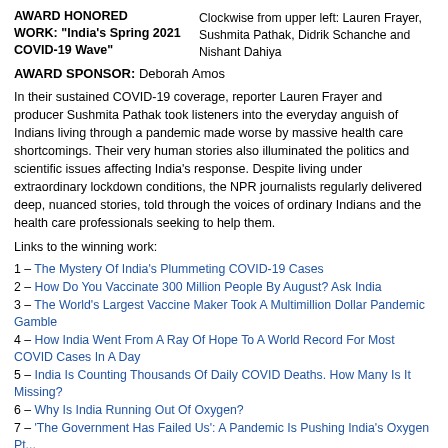AWARD HONORED WORK: "India's Spring 2021 COVID-19 Wave"
Clockwise from upper left: Lauren Frayer, Sushmita Pathak, Didrik Schanche and Nishant Dahiya
AWARD SPONSOR: Deborah Amos
In their sustained COVID-19 coverage, reporter Lauren Frayer and producer Sushmita Pathak took listeners into the everyday anguish of Indians living through a pandemic made worse by massive health care shortcomings. Their very human stories also illuminated the politics and scientific issues affecting India's response. Despite living under extraordinary lockdown conditions, the NPR journalists regularly delivered deep, nuanced stories, told through the voices of ordinary Indians and the health care professionals seeking to help them.
Links to the winning work:
1 – The Mystery Of India's Plummeting COVID-19 Cases
2 – How Do You Vaccinate 300 Million People By August? Ask India
3 – The World's Largest Vaccine Maker Took A Multimillion Dollar Pandemic Gamble
4 – How India Went From A Ray Of Hope To A World Record For Most COVID Cases In A Day
5 – India Is Counting Thousands Of Daily COVID Deaths. How Many Is It Missing?
6 – Why Is India Running Out Of Oxygen?
7 – 'The Government Has Failed Us': A Pandemic Is Pushing India's Oxygen Patients...